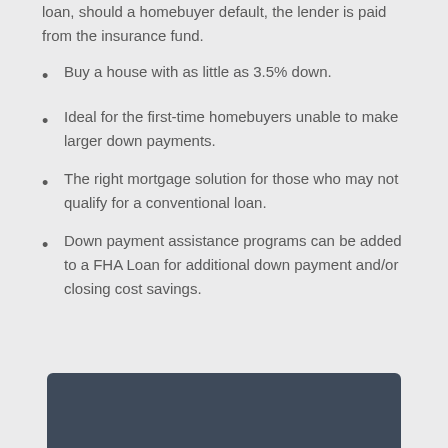loan, should a homebuyer default, the lender is paid from the insurance fund.
Buy a house with as little as 3.5% down.
Ideal for the first-time homebuyers unable to make larger down payments.
The right mortgage solution for those who may not qualify for a conventional loan.
Down payment assistance programs can be added to a FHA Loan for additional down payment and/or closing cost savings.
[Figure (other): Dark gray/blue rounded rectangle box at bottom of page]